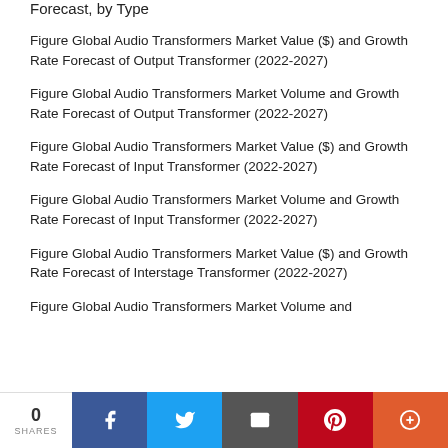Forecast, by Type
Figure Global Audio Transformers Market Value ($) and Growth Rate Forecast of Output Transformer (2022-2027)
Figure Global Audio Transformers Market Volume and Growth Rate Forecast of Output Transformer (2022-2027)
Figure Global Audio Transformers Market Value ($) and Growth Rate Forecast of Input Transformer (2022-2027)
Figure Global Audio Transformers Market Volume and Growth Rate Forecast of Input Transformer (2022-2027)
Figure Global Audio Transformers Market Value ($) and Growth Rate Forecast of Interstage Transformer (2022-2027)
Figure Global Audio Transformers Market Volume and